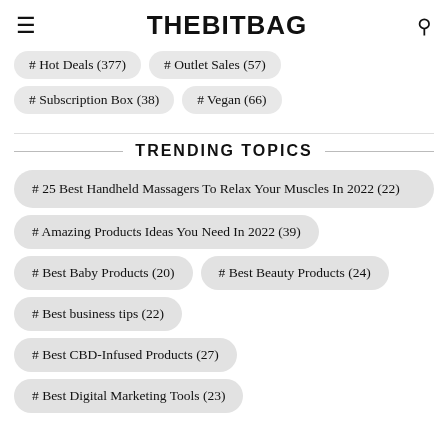THEBITBAG
# Hot Deals (377)
# Outlet Sales (57)
# Subscription Box (38)
# Vegan (66)
TRENDING TOPICS
# 25 Best Handheld Massagers To Relax Your Muscles In 2022 (22)
# Amazing Products Ideas You Need In 2022 (39)
# Best Baby Products (20)
# Best Beauty Products (24)
# Best business tips (22)
# Best CBD-Infused Products (27)
# Best Digital Marketing Tools (23)